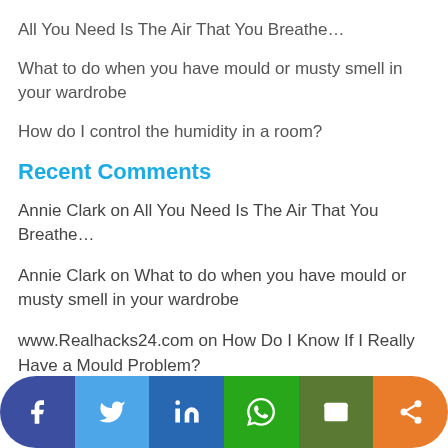All You Need Is The Air That You Breathe…
What to do when you have mould or musty smell in your wardrobe
How do I control the humidity in a room?
Recent Comments
Annie Clark on All You Need Is The Air That You Breathe…
Annie Clark on What to do when you have mould or musty smell in your wardrobe
www.Realhacks24.com on How Do I Know If I Really Have a Mould Problem?
Anonymous on Mould and Moisture in the Sunshine Coast Hinterland
Cecile on How to Keep your House Healthy & Dry